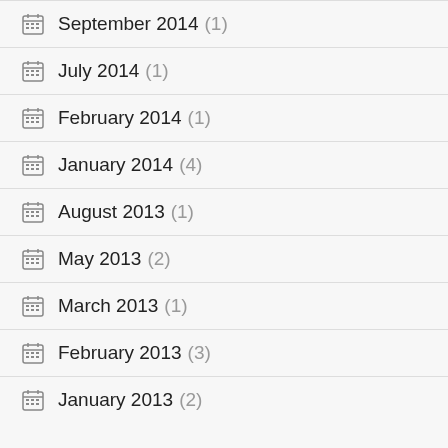September 2014 (1)
July 2014 (1)
February 2014 (1)
January 2014 (4)
August 2013 (1)
May 2013 (2)
March 2013 (1)
February 2013 (3)
January 2013 (2)